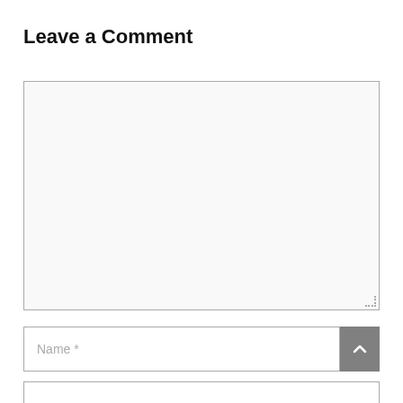Leave a Comment
[Figure (screenshot): A comment form with a large empty text area for comment input, a Name field with placeholder text 'Name *', a scroll-to-top button (gray, with upward chevron), and the top of another input field at the bottom.]